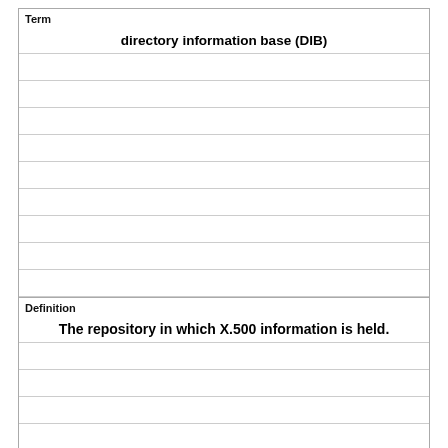| Term |
| --- |
| directory information base (DIB) |
|  |
|  |
|  |
|  |
|  |
|  |
|  |
|  |
|  |
| Definition |
| --- |
| The repository in which X.500 information is held. |
|  |
|  |
|  |
|  |
|  |
|  |
|  |